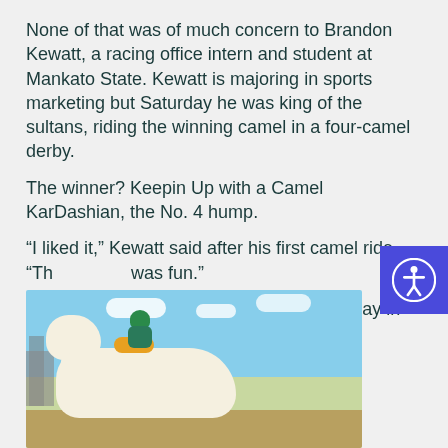None of that was of much concern to Brandon Kewatt, a racing office intern and student at Mankato State. Kewatt is majoring in sports marketing but Saturday he was king of the sultans, riding the winning camel in a four-camel derby.
The winner? Keepin Up with a Camel KarDashian, the No. 4 hump.
“I liked it,” Kewatt said after his first camel ride. “Th... was fun.”
Opposing rider Maddie Primo had this to say in reponse:
“You killed it out there. You did.”
[Figure (photo): Photo of a person in a green jockey outfit riding a white camel at what appears to be a racing event, with blue sky and buildings in the background.]